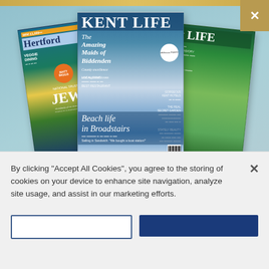[Figure (photo): Three overlapping magazine covers: Hertfordshire Life (left, rotated), Kent Life (center, upright), and a Life magazine (right, rotated). Background is light teal/blue with leaf patterns.]
SUBSCRIBE TODAY AND GET A £10 WATERSTONES E-GIFT CARD
[Figure (other): Gold gradient Subscribe Today button bar, partially visible at bottom of teal section]
By clicking "Accept All Cookies", you agree to the storing of cookies on your device to enhance site navigation, analyze site usage, and assist in our marketing efforts.
[Figure (other): Two buttons at very bottom: outline button and solid dark blue button]